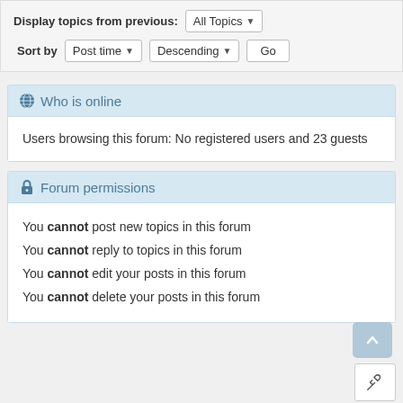Display topics from previous: All Topics ▼  Sort by  Post time ▼  Descending ▼  Go
Who is online
Users browsing this forum: No registered users and 23 guests
Forum permissions
You cannot post new topics in this forum
You cannot reply to topics in this forum
You cannot edit your posts in this forum
You cannot delete your posts in this forum